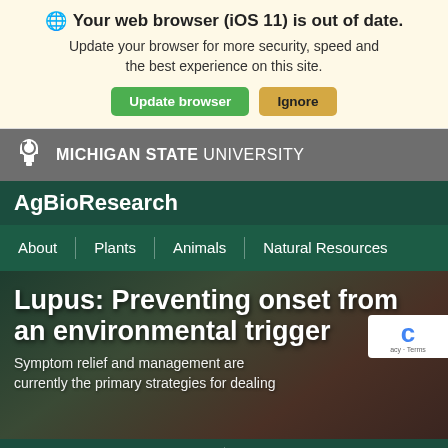Your web browser (iOS 11) is out of date. Update your browser for more security, speed and the best experience on this site. Update browser | Ignore
[Figure (screenshot): Michigan State University Spartan helmet logo in white on grey background]
AgBioResearch
About | Plants | Animals | Natural Resources
Lupus: Preventing onset from an environmental trigger
Symptom relief and management are currently the primary strategies for dealing